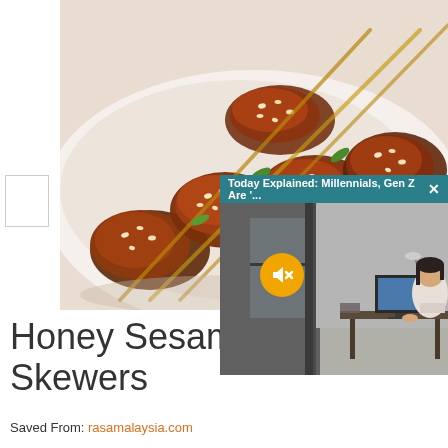[Figure (photo): Food photo showing honey sesame chicken skewers on a white background, glazed brown chicken pieces with sesame seeds and green onion on skewers]
[Figure (screenshot): Video overlay popup with teal header bar reading 'Today Explained: Millennials, Gen Z Are '...' with close X button, showing a person working at a computer desk in a modern office setting, with a yellow mute button icon]
Honey Sesame Chicken Skewers
Saved From: rasamalaysia.com